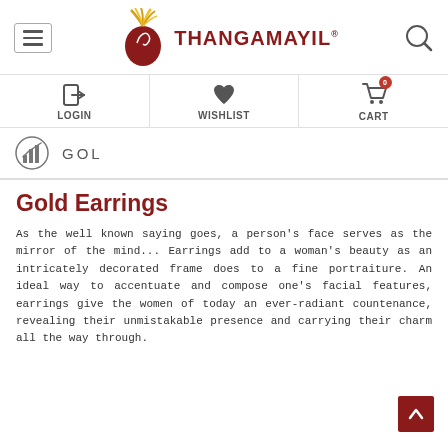[Figure (logo): Thangamayil jewellery brand logo with stylized peacock in red/gold and brand name in dark red text]
LOGIN  WISHLIST  CART
GOL
Gold Earrings
As the well known saying goes, a person's face serves as the mirror of the mind... Earrings add to a woman's beauty as an intricately decorated frame does to a fine portraiture. An ideal way to accentuate and compose one's facial features, earrings give the women of today an ever-radiant countenance, revealing their unmistakable presence and carrying their charm all the way through.